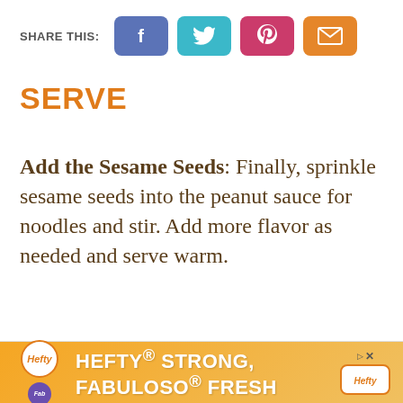[Figure (other): Share This bar with social media buttons: Facebook (blue-purple), Twitter (teal), Pinterest (pink/red), Email (orange)]
SERVE
Add the Sesame Seeds: Finally, sprinkle sesame seeds into the peanut sauce for noodles and stir. Add more flavor as needed and serve warm.
[Figure (other): Hefty advertisement banner: Hefty logo, Fabuloso logo, text reading HEFTY STRONG, FABULOSO FRESH]